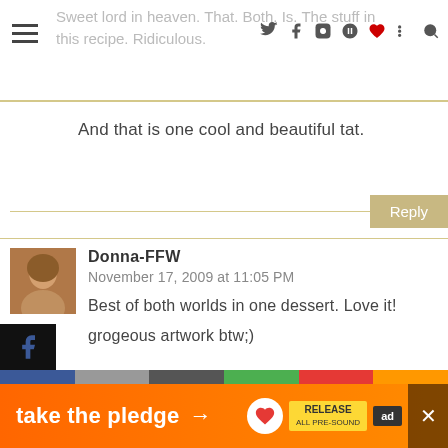Sweet lord in heaven. That. Both. Is. The stuff in this recipe. Ridiculous.
And that is one cool and beautiful tat.
Donna-FFW
November 17, 2009 at 11:05 PM

Best of both worlds in one dessert. Love it!

grogeous artwork btw;)
Cocina Savant
[Figure (infographic): Take the pledge ad banner with orange background, arrow, RELEASE logo]